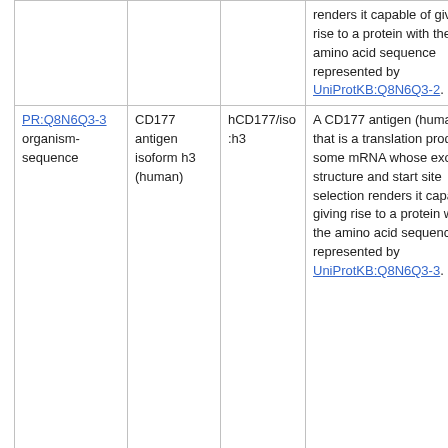|  |  |  |  |
| --- | --- | --- | --- |
|  |  |  | renders it capable of giving rise to a protein with the amino acid sequence represented by UniProtKB:Q8N6Q3-2. |
| PR:Q8N6Q3-3
organism-sequence | CD177 antigen isoform h3 (human) | hCD177/iso:h3 | A CD177 antigen (human) that is a translation product of some mRNA whose exon structure and start site selection renders it capable of giving rise to a protein with the amino acid sequence represented by UniProtKB:Q8N6Q3-3. |